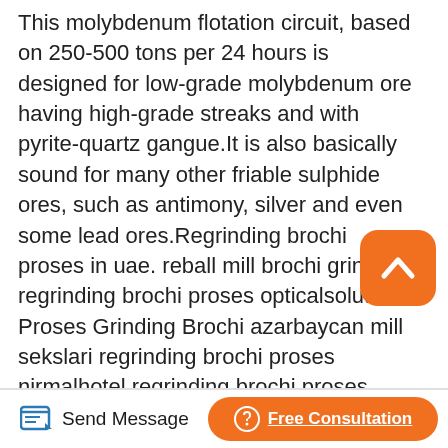This molybdenum flotation circuit, based on 250-500 tons per 24 hours is designed for low-grade molybdenum ore having high-grade streaks and with pyrite-quartz gangue.It is also basically sound for many other friable sulphide ores, such as antimony, silver and even some lead ores.Regrinding brochi proses in uae. reball mill brochi grinders regrinding brochi proses opticalsolution Proses Grinding Brochi azarbaycan mill sekslari regrinding brochi proses nirmalhotel regrinding brochi proses how to build a concrete crushing plant grinding masala processing cold rolling mill machinery concentration of ores gravity separation repair
[Figure (other): Orange rounded square button with white upward chevron/caret icon, used as a scroll-to-top button]
[Figure (other): Orange pill-shaped Free Consultation button with headset icon and underlined white text, and a Send Message link with pencil/edit icon]